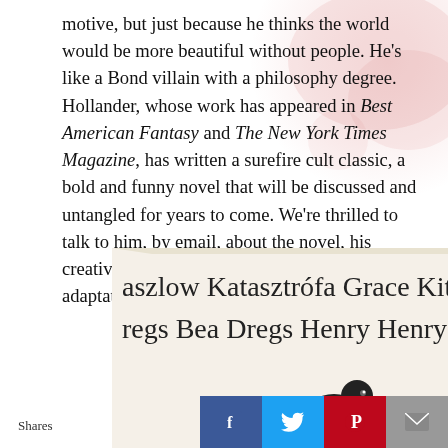motive, but just because he thinks the world would be more beautiful without people. He’s like a Bond villain with a philosophy degree. Hollander, whose work has appeared in Best American Fantasy and The New York Times Magazine, has written a surefire cult classic, a bold and funny novel that will be discussed and untangled for years to come. We’re thrilled to talk to him, by email, about the novel, his creative process, and his vision for TV and stage adaptations.
[Figure (photo): Photo of a book spine and cover showing text: 'aszlow Katasztrófa Grace Kitchen Fi' and 'regs Bea Dregs Henry Henry Puddi' with a bird illustration on the cover]
Shares
[Figure (infographic): Social media share buttons: Facebook (blue), Twitter (blue), Pinterest (red), Email (grey)]